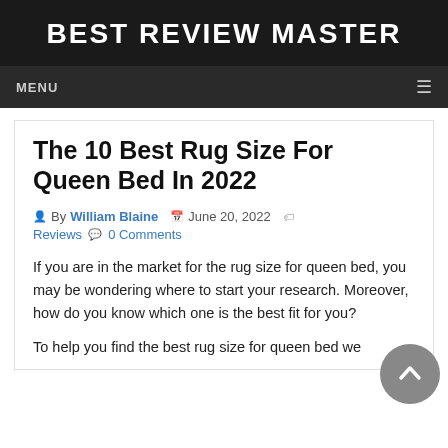BEST REVIEW MASTER
MENU
The 10 Best Rug Size For Queen Bed In 2022
By William Blaine  June 20, 2022  Reviews  0 Comments
If you are in the market for the rug size for queen bed, you may be wondering where to start your research. Moreover, how do you know which one is the best fit for you?
To help you find the best rug size for queen bed we